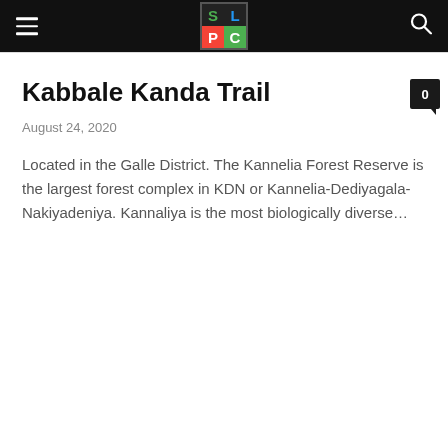SLPC logo header with hamburger menu and search icon
Kabbale Kanda Trail
August 24, 2020
Located in the Galle District. The Kannelia Forest Reserve is the largest forest complex in KDN or Kannelia-Dediyagala-Nakiyadeniya. Kannaliya is the most biologically diverse...